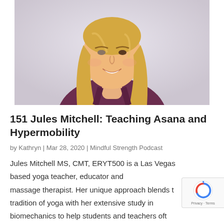[Figure (photo): Portrait photo of a smiling blonde woman wearing a purple/maroon athletic tank top, against a light gray/lavender background. She has long straight blonde hair and is smiling at the camera.]
151 Jules Mitchell: Teaching Asana and Hypermobility
by Kathryn | Mar 28, 2020 | Mindful Strength Podcast
Jules Mitchell MS, CMT, ERYT500 is a Las Vegas based yoga teacher, educator and massage therapist. Her unique approach blends the tradition of yoga with her extensive study in biomechanics to help students and teachers often